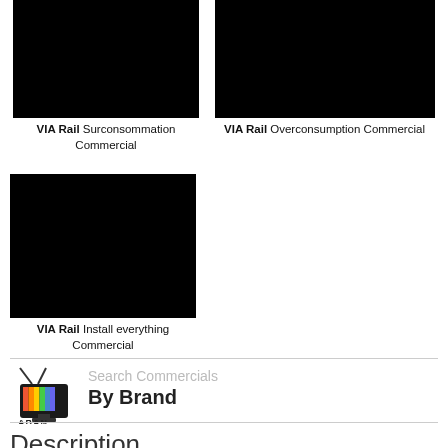[Figure (photo): Black video thumbnail for VIA Rail Surconsommation Commercial]
VIA Rail Surconsommation Commercial
[Figure (photo): Black video thumbnail for VIA Rail Overconsumption Commercial]
VIA Rail Overconsumption Commercial
[Figure (photo): Black video thumbnail for VIA Rail Install everything Commercial]
VIA Rail Install everything Commercial
[Figure (logo): Aban Commercials logo with colorful TV icon]
Search Commercials
By Brand
Description
MEC TV ad • MEC commercial • People of MEC Kitchener • MEC People of MEC Kitchener TV ad • We're proud to announce we've opened our seventh